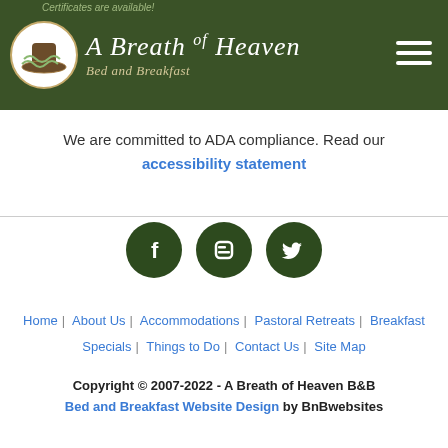A Breath of Heaven Bed and Breakfast
Certificates are available!
We are committed to ADA compliance. Read our accessibility statement
[Figure (other): Social media icons: Facebook, Blogger, Twitter — dark green circles with white icons]
Home | About Us | Accommodations | Pastoral Retreats | Breakfast | Specials | Things to Do | Contact Us | Site Map
Copyright © 2007-2022 - A Breath of Heaven B&B
Bed and Breakfast Website Design by BnBwebsites